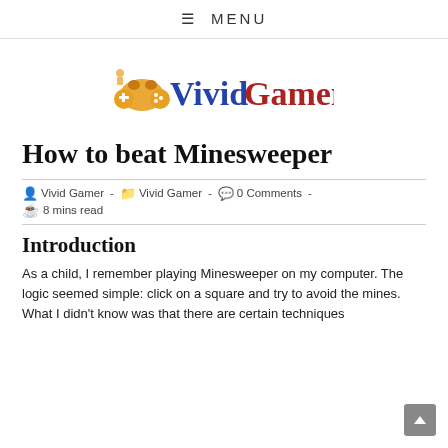≡ MENU
[Figure (logo): VividGamer logo with orange game controller icon and text 'Vivid' in blue and 'Gamer' in dark red]
How to beat Minesweeper
👤 Vivid Gamer - 🗂 Vivid Gamer - 💬 0 Comments -
☕ 8 mins read
Introduction
As a child, I remember playing Minesweeper on my computer. The logic seemed simple: click on a square and try to avoid the mines. What I didn't know was that there are certain techniques